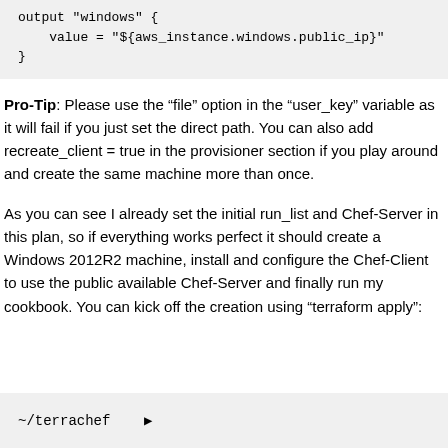output "windows" {
    value = "${aws_instance.windows.public_ip}"
}
Pro-Tip: Please use the "file" option in the "user_key" variable as it will fail if you just set the direct path. You can also add recreate_client = true in the provisioner section if you play around and create the same machine more than once.
As you can see I already set the initial run_list and Chef-Server in this plan, so if everything works perfect it should create a Windows 2012R2 machine, install and configure the Chef-Client to use the public available Chef-Server and finally run my cookbook. You can kick off the creation using "terraform apply":
~/terrachef  ▶